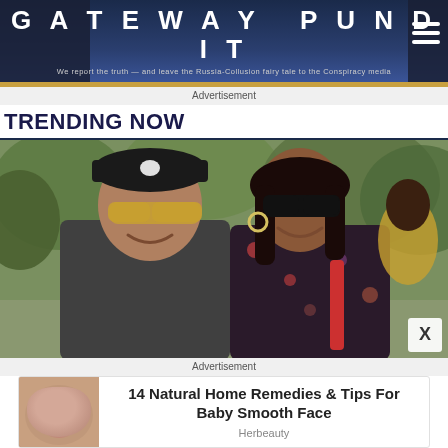GATEWAY PUNDIT — We report the truth — and leave the Russia-Collusion fairy tale to the Conspiracy media
Advertisement
TRENDING NOW
[Figure (photo): A couple walking outdoors. A man wearing a black cap, sunglasses and dark grey t-shirt smiles alongside a woman with long dark hair, sunglasses, and floral dress with red purse. Green trees in background.]
X
Advertisement
[Figure (photo): Close-up of a man's face with skin texture/acne scarring visible]
14 Natural Home Remedies & Tips For Baby Smooth Face
Herbeauty